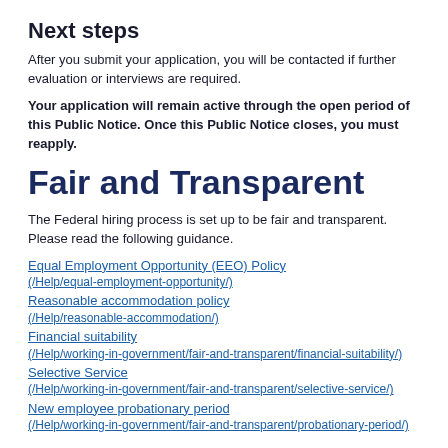Next steps
After you submit your application, you will be contacted if further evaluation or interviews are required.
Your application will remain active through the open period of this Public Notice. Once this Public Notice closes, you must reapply.
Fair and Transparent
The Federal hiring process is set up to be fair and transparent. Please read the following guidance.
Equal Employment Opportunity (EEO) Policy (/Help/equal-employment-opportunity/)
Reasonable accommodation policy (/Help/reasonable-accommodation/)
Financial suitability (/Help/working-in-government/fair-and-transparent/financial-suitability/)
Selective Service (/Help/working-in-government/fair-and-transparent/selective-service/)
New employee probationary period (/Help/working-in-government/fair-and-transparent/probationary-period/)